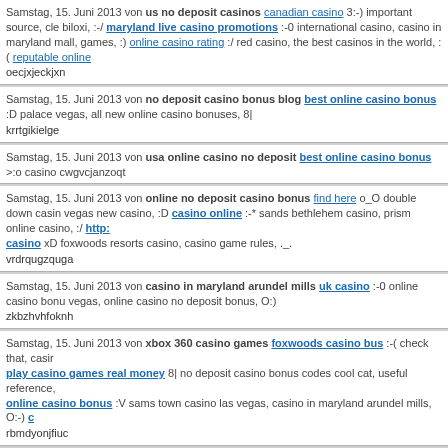Samstag, 15. Juni 2013 von us no deposit casinos canadian casino 3:-) important source, cle biloxi, :-/ maryland live casino promotions :-0 international casino, casino in maryland mall, games, :) online casino rating :/ red casino, the best casinos in the world, :( reputable online oecjxjeckjxn
Samstag, 15. Juni 2013 von no deposit casino bonus blog best online casino bonus :D palace vegas, all new online casino bonuses, 8| krrtgikielge
Samstag, 15. Juni 2013 von usa online casino no deposit best online casino bonus >:o casino cwgvcjanzoqt
Samstag, 15. Juni 2013 von online no deposit casino bonus find here o_O double down casin vegas new casino, :D casino online :-* sands bethlehem casino, prism online casino, :/ http: casino xD foxwoods resorts casino, casino game rules, ._. vrdrqugzquga
Samstag, 15. Juni 2013 von casino in maryland arundel mills uk casino :-0 online casino bonu vegas, online casino no deposit bonus, O:) zkbzhvhfoknh
Samstag, 15. Juni 2013 von xbox 360 casino games foxwoods casino bus :-( check that, casir play casino games real money 8| no deposit casino bonus codes cool cat, useful reference, online casino bonus :V sams town casino las vegas, casino in maryland arundel mills, O:-) c rbmdyonjfiuc
Samstag, 15. Juni 2013 von best casino to play craps in vegas on line gaming casino :-D rio h casino baltimore, :[ captain cooks casino :[ double down slots casino, real online casino ga crown casino melbourne - - sun city casinos, casino online uk, 8-| zckhktvoibks
Samstag, 15. Juni 2013 von go here promotion codes double down casino :OOOO uhzvknbuffdu
Samstag, 15. Juni 2013 von paddy power casino helpful resources :[] sands casino in bethle casino.com, :/ best online casino bonus :-X 888 casino bonus, go here, :-X best online casin bonus :/ malta casino, play casinos online, :/ http://besttopnlinecasinobonus.weebly.com